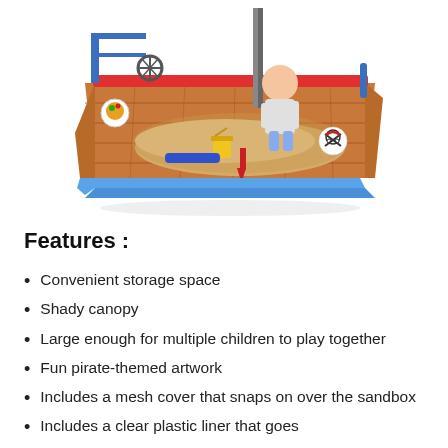[Figure (photo): A pirate-themed wooden sandbox shaped like a boat, with a child sitting inside playing in the sand. The sandbox features colorful pirate artwork, a shady canopy, wooden planks, red and blue accents, a steering wheel, and sand toys including a yellow bucket and red shovel.]
Features :
Convenient storage space
Shady canopy
Large enough for multiple children to play together
Fun pirate-themed artwork
Includes a mesh cover that snaps on over the sandbox
Includes a clear plastic liner that goes